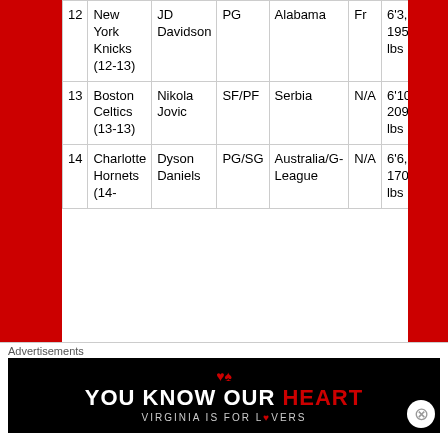| # | Team | Player | Pos | Country | Yr | Ht/Wt |
| --- | --- | --- | --- | --- | --- | --- |
| 12 | New York Knicks (12-13) | JD Davidson | PG | Alabama | Fr | 6'3, 195 lbs |
| 13 | Boston Celtics (13-13) | Nikola Jovic | SF/PF | Serbia | N/A | 6'10, 209 lbs |
| 14 | Charlotte Hornets (14- | Dyson Daniels | PG/SG | Australia/G-League | N/A | 6'6, 170 lbs |
Advertisements
[Figure (infographic): YOU KNOW OUR HEART — VIRGINIA IS FOR LOVERS advertisement banner]